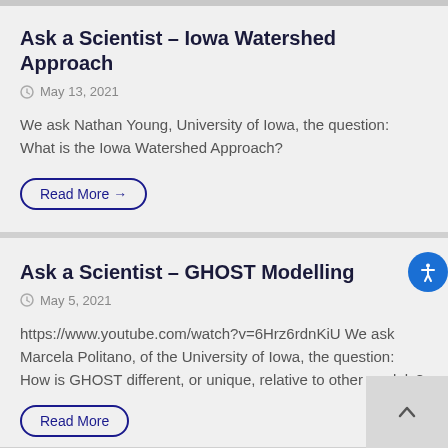Ask a Scientist – Iowa Watershed Approach
May 13, 2021
We ask Nathan Young, University of Iowa, the question: What is the Iowa Watershed Approach?
Read More →
Ask a Scientist – GHOST Modelling
May 5, 2021
https://www.youtube.com/watch?v=6Hrz6rdnKiU We ask Marcela Politano, of the University of Iowa, the question: How is GHOST different, or unique, relative to other models?
Read More